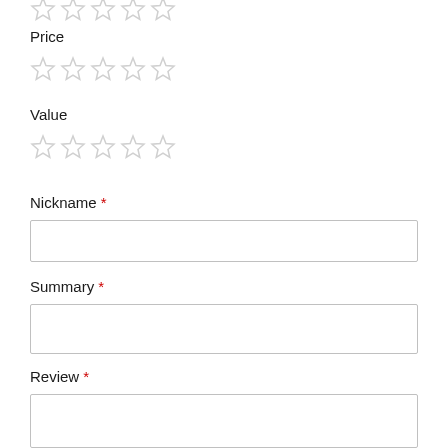[Figure (other): Five empty star rating icons (grey outlines) — top of page, partially cropped]
Price
[Figure (other): Five empty star rating icons (grey outlines) for Price rating]
Value
[Figure (other): Five empty star rating icons (grey outlines) for Value rating]
Nickname *
[Figure (other): Empty text input field for Nickname]
Summary *
[Figure (other): Empty text input field for Summary]
Review *
[Figure (other): Empty textarea for Review]